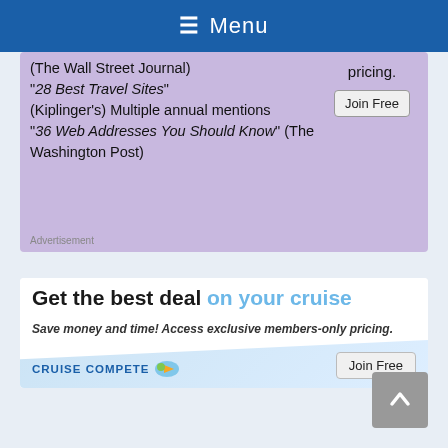Menu
(The Wall Street Journal) “28 Best Travel Sites” (Kiplinger’s) Multiple annual mentions “36 Web Addresses You Should Know” (The Washington Post)
Advertisement
[Figure (infographic): CruiseCompete advertisement: 'Get the best deal on your cruise. Save money and time! Access exclusive members-only pricing. Join Free']
[Figure (other): Scroll to top button (grey arrow up)]